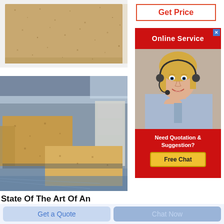[Figure (photo): Close-up photo of a rectangular firebrick or refractory brick with sandy brown/tan texture]
[Figure (photo): Photo of stacked firebricks/refractory bricks in a warehouse setting, showing yellow-brown bricks piled on plastic sheeting]
[Figure (other): Get Price button with red/orange border and red text]
[Figure (other): Online Service banner with red background, white text, close X button, photo of blonde woman with headset, Need Quotation & Suggestion text, and Free Chat yellow button]
State Of The Art Of An
Get a Quote
Chat Now